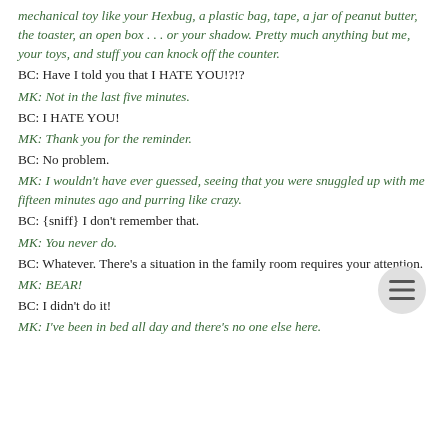mechanical toy like your Hexbug, a plastic bag, tape, a jar of peanut butter, the toaster, an open box . . . or your shadow. Pretty much anything but me, your toys, and stuff you can knock off the counter.
BC: Have I told you that I HATE YOU!?!?
MK: Not in the last five minutes.
BC: I HATE YOU!
MK: Thank you for the reminder.
BC: No problem.
MK: I wouldn't have ever guessed, seeing that you were snuggled up with me fifteen minutes ago and purring like crazy.
BC: {sniff} I don't remember that.
MK: You never do.
BC: Whatever. There's a situation in the family room requires your attention.
MK: BEAR!
BC: I didn't do it!
MK: I've been in bed all day and there's no one else here.